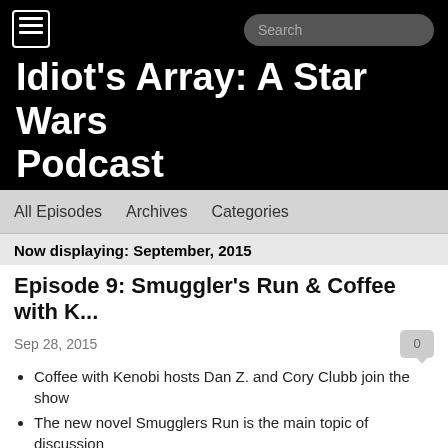Idiot's Array: A Star Wars Podcast
All Episodes  Archives  Categories
Now displaying: September, 2015
Episode 9: Smuggler's Run & Coffee with K...
Sep 28, 2015
Coffee with Kenobi hosts Dan Z. and Cory Clubb join the show
The new novel Smugglers Run is the main topic of discussion
Chewbacca's depth as a character
A debate over whether the Millennium Falcon is a character or not
Mark compares the Falcon to a cat
Han's arc through this book and the original trilogy